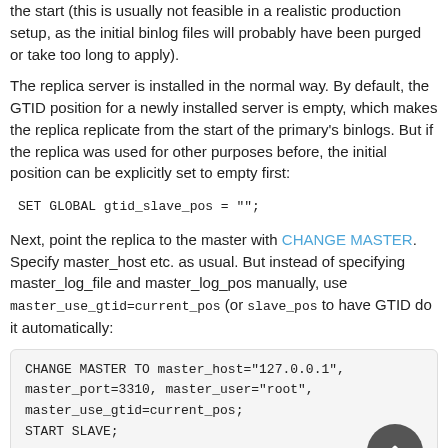the start (this is usually not feasible in a realistic production setup, as the initial binlog files will probably have been purged or take too long to apply).
The replica server is installed in the normal way. By default, the GTID position for a newly installed server is empty, which makes the replica replicate from the start of the primary's binlogs. But if the replica was used for other purposes before, the initial position can be explicitly set to empty first:
Next, point the replica to the master with CHANGE MASTER. Specify master_host etc. as usual. But instead of specifying master_log_file and master_log_pos manually, use master_use_gtid=current_pos (or slave_pos to have GTID do it automatically:
[Figure (other): Code block showing CHANGE MASTER TO SQL command with master_host, master_port, master_user, master_use_gtid=current_pos; START SLAVE;]